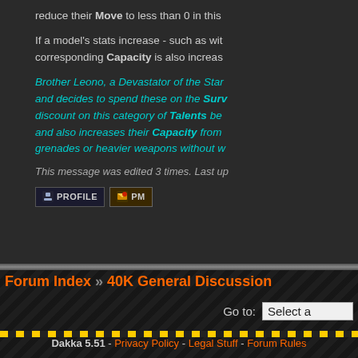reduce their Move to less than 0 in this
If a model's stats increase - such as with corresponding Capacity is also increas
Brother Leono, a Devastator of the Star and decides to spend these on the Surv discount on this category of Talents be and also increases their Capacity from grenades or heavier weapons without w
This message was edited 3 times. Last up
Forum Index » 40K General Discussion
Dakka 5.51 - Privacy Policy - Legal Stuff - Forum Rules